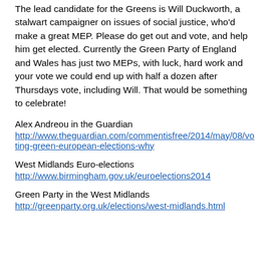The lead candidate for the Greens is Will Duckworth, a stalwart campaigner on issues of social justice, who'd make a great MEP. Please do get out and vote, and help him get elected. Currently the Green Party of England and Wales has just two MEPs, with luck, hard work and your vote we could end up with half a dozen after Thursdays vote, including Will. That would be something to celebrate!
Alex Andreou in the Guardian
http://www.theguardian.com/commentisfree/2014/may/08/voting-green-european-elections-why
West Midlands Euro-elections
http://www.birmingham.gov.uk/euroelections2014
Green Party in the West Midlands
http://greenparty.org.uk/elections/west-midlands.html